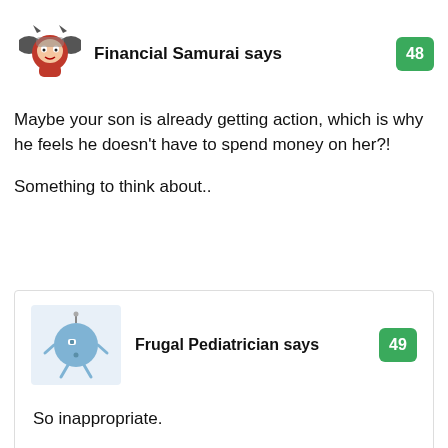[Figure (illustration): Financial Samurai avatar: cartoon samurai bat character in red outfit]
Financial Samurai says
48
Maybe your son is already getting action, which is why he feels he doesn't have to spend money on her?!
Something to think about..
[Figure (illustration): Frugal Pediatrician avatar: cartoon blue blob character with stick arms and legs]
Frugal Pediatrician says
49
So inappropriate.